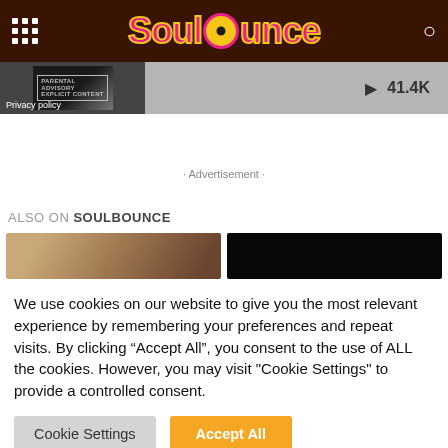SoulBounce
[Figure (screenshot): Embedded media player bar with album art thumbnail, Privacy policy label, play button and 41.4K count]
· Advertisement ·
ALSO ON SOULBOUNCE
[Figure (photo): Two thumbnail images side by side - left brownish/warm toned, right black]
We use cookies on our website to give you the most relevant experience by remembering your preferences and repeat visits. By clicking "Accept All", you consent to the use of ALL the cookies. However, you may visit "Cookie Settings" to provide a controlled consent.
Cookie Settings   Accept All